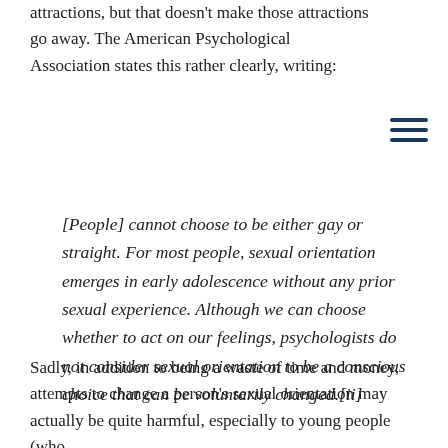attractions, but that doesn't make those attractions go away. The American Psychological Association states this rather clearly, writing:
[People] cannot choose to be either gay or straight. For most people, sexual orientation emerges in early adolescence without any prior sexual experience. Although we can choose whether to act on our feelings, psychologists do not consider sexual orientation to be a conscious choice that can be voluntarily changed.[ii]
Sadly, in addition to being a waste of time and money, attempts to change a person's sexual orientation may actually be quite harmful, especially to young people (who